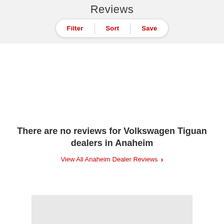Reviews
Filter | Sort | Save
There are no reviews for Volkswagen Tiguan dealers in Anaheim
View All Anaheim Dealer Reviews >